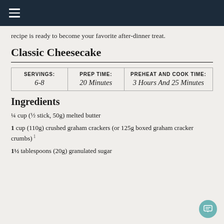≡ (navigation bar)
recipe is ready to become your favorite after-dinner treat.
Classic Cheesecake
| SERVINGS: | PREP TIME: | PREHEAT AND COOK TIME: |
| --- | --- | --- |
| 6-8 | 20 Minutes | 3 Hours And 25 Minutes |
Ingredients
¼ cup (½ stick, 50g) melted butter
1 cup (110g) crushed graham crackers (or 125g boxed graham cracker crumbs)
1½ tablespoons (20g) granulated sugar